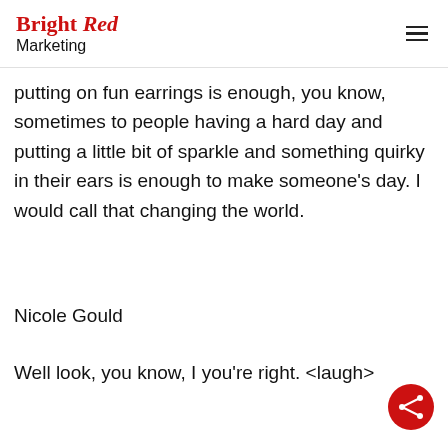Bright Red Marketing
putting on fun earrings is enough, you know, sometimes to people having a hard day and putting a little bit of sparkle and something quirky in their ears is enough to make someone's day. I would call that changing the world.
Nicole Gould
Well look, you know, I you're right. <laugh>